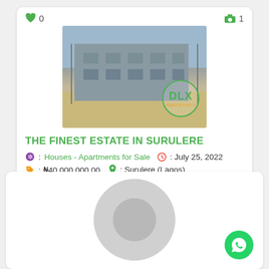[Figure (photo): Card listing for real estate property. Shows a building under construction photo with DLX Nigeria.com watermark. Heart icon with count 0 and camera icon with count 1 in top bar.]
THE FINEST ESTATE IN SURULERE
🟣 : Houses - Apartments for Sale  🕐 : July 25, 2022
🏷 : ₦40,000,000.00  📍 : Surulere (Lagos)
[Figure (photo): Bottom card showing a user profile avatar (gray circular silhouette) and a WhatsApp green button in the bottom right corner.]